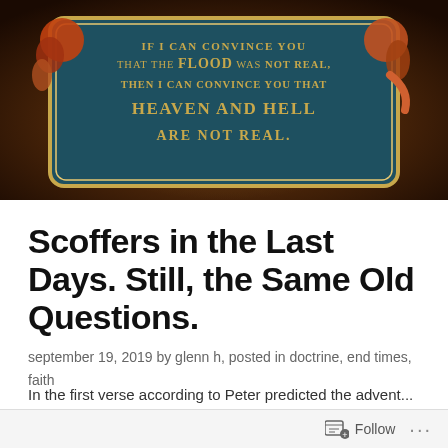[Figure (illustration): Dark warm-toned background with a teal decorative plaque bordered in gold, held by serpent/creature hands on either side, displaying the text: 'IF I CAN CONVINCE YOU THAT THE FLOOD WAS NOT REAL, THEN I CAN CONVINCE YOU THAT HEAVEN AND HELL ARE NOT REAL.' in gold letters.]
Scoffers in the Last Days. Still, the Same Old Questions.
september 19, 2019 by glenn h, posted in doctrine, end times, faith
In the first verse according to Peter predicted the advent...